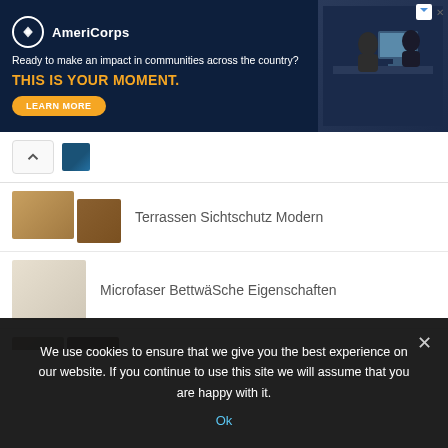[Figure (screenshot): AmeriCorps advertisement banner with dark navy background. Logo with circle icon and 'AmeriCorps' text. Tagline: 'Ready to make an impact in communities across the country?' Headline: 'THIS IS YOUR MOMENT.' Orange 'LEARN MORE' button. Right side shows people at computers.]
Terrassen Sichtschutz Modern
Microfaser BettwäSche Eigenschaften
Massivholzmöbel Leipzig Wahren
Carport Mit Terrassendach
We use cookies to ensure that we give you the best experience on our website. If you continue to use this site we will assume that you are happy with it.
Ok